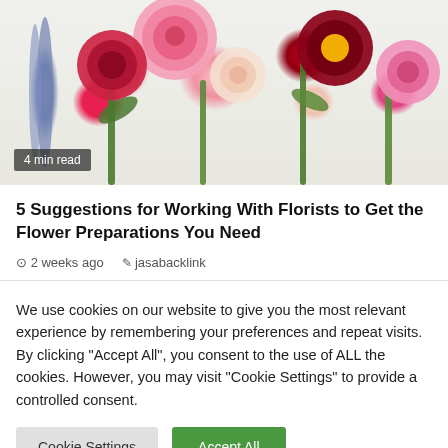[Figure (photo): Overhead photo of various flowers including pink peonies, red roses, dark red dahlia, cream rose, and pink flower on a light background with green stems and leaves]
4 min read
5 Suggestions for Working With Florists to Get the Flower Preparations You Need
2 weeks ago   jasabacklink
We use cookies on our website to give you the most relevant experience by remembering your preferences and repeat visits. By clicking "Accept All", you consent to the use of ALL the cookies. However, you may visit "Cookie Settings" to provide a controlled consent.
Cookie Settings   Accept All